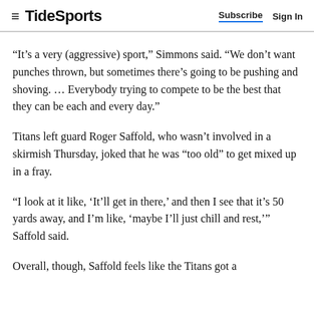TideSports  Subscribe  Sign In
“It’s a very (aggressive) sport,” Simmons said. “We don’t want punches thrown, but sometimes there’s going to be pushing and shoving. … Everybody trying to compete to be the best that they can be each and every day.”
Titans left guard Roger Saffold, who wasn’t involved in a skirmish Thursday, joked that he was “too old” to get mixed up in a fray.
“I look at it like, ‘It’ll get in there,’ and then I see that it’s 50 yards away, and I’m like, ‘maybe I’ll just chill and rest,’” Saffold said.
Overall, though, Saffold feels like the Titans got a